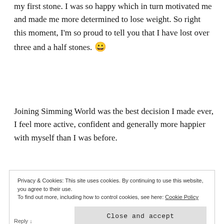my first stone. I was so happy which in turn motivated me and made me more determined to lose weight. So right this moment, I'm so proud to tell you that I have lost over three and a half stones. 😀
Joining Simming World was the best decision I made ever, I feel more active, confident and generally more happier with myself than I was before.
Privacy & Cookies: This site uses cookies. By continuing to use this website, you agree to their use. To find out more, including how to control cookies, see here: Cookie Policy
Close and accept
Reply ↓